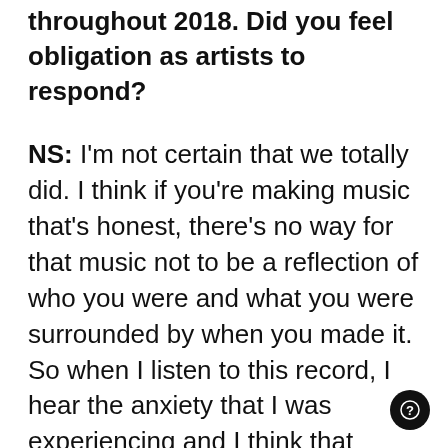throughout 2018. Did you feel obligation as artists to respond?
NS: I'm not certain that we totally did. I think if you're making music that's honest, there's no way for that music not to be a reflection of who you were and what you were surrounded by when you made it. So when I listen to this record, I hear the anxiety that I was experiencing and I think that Amelia was experiencing in the year that we made it. That had to do with so many things, including our country burning to the ground around us. But it's just kind